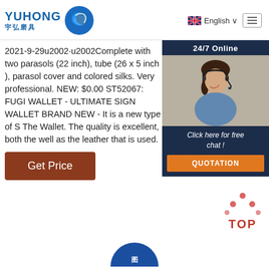[Figure (logo): YUHONG logo with blue wave icon and Chinese characters 宇弘磨具]
[Figure (infographic): Language selector with UK flag showing English, and hamburger menu button]
2021-9-29u2002·u2002Complete with two parasols (22 inch), tube (26 x 5 inch ), parasol cover and colored silks. Very professional. NEW: $0.00 ST52067: FUGI WALLET - ULTIMATE SIGN WALLET BRAND NEW - It is a new type of S The Wallet. The quality is excellent, both the well as the leather that is used.
[Figure (infographic): 24/7 Online chat widget with photo of woman with headset and quotation button]
[Figure (other): Get Price button (brown/dark red)]
[Figure (infographic): TOP button with red dots arranged in triangle above TOP text]
[Figure (other): Partial circular element at bottom center]